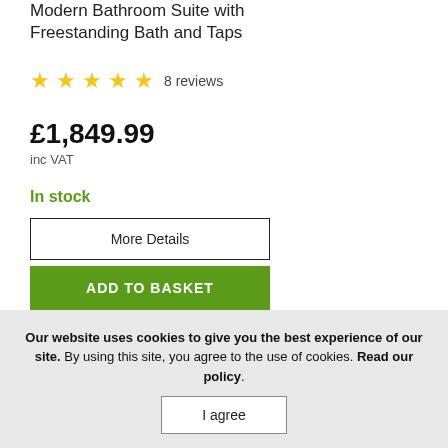Modern Bathroom Suite with Freestanding Bath and Taps
★★★★★ 8 reviews
£1,849.99 inc VAT
In stock
More Details
ADD TO BASKET
Our website uses cookies to give you the best experience of our site. By using this site, you agree to the use of cookies. Read our policy.
I agree